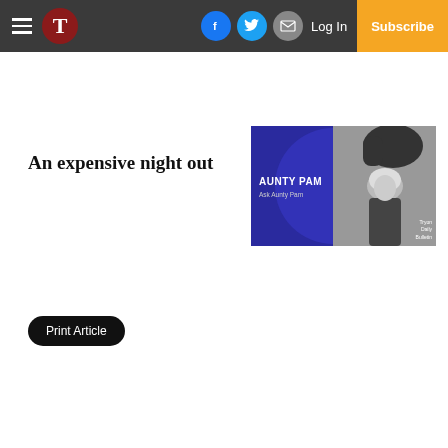T [logo] | Facebook | Twitter | Email | Log In | Subscribe
An expensive night out
[Figure (illustration): Aunty Pam column banner image. Left side shows a dark blue/purple semicircle with text 'AUNTY PAM' and 'Ask Aunty Pam'. Right side is a black-and-white photo of a woman with short blonde hair next to a horse. Bottom right reads 'Tryon Daily Bulletin'.]
Print Article